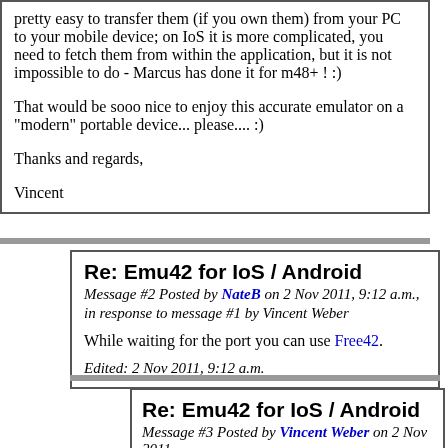pretty easy to transfer them (if you own them) from your PC to your mobile device; on IoS it is more complicated, you need to fetch them from within the application, but it is not impossible to do - Marcus has done it for m48+ ! :)

That would be sooo nice to enjoy this accurate emulator on a "modern" portable device... please.... :)

Thanks and regards,

Vincent
Re: Emu42 for IoS / Android
Message #2 Posted by NateB on 2 Nov 2011, 9:12 a.m., in response to message #1 by Vincent Weber
While waiting for the port you can use Free42.
Edited: 2 Nov 2011, 9:12 a.m.
Re: Emu42 for IoS / Android
Message #3 Posted by Vincent Weber on 2 Nov 2011, 9:15 a.m., in response to message #2 by NateB